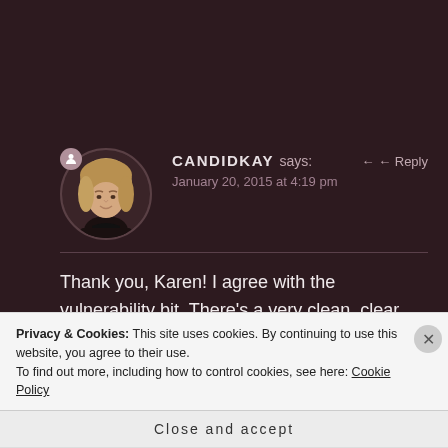CANDIDKAY says: January 20, 2015 at 4:19 pm
Thank you, Karen! I agree with the vulnerability bit. There's a very clean, clear, humble energy that purifies the space.
Privacy & Cookies: This site uses cookies. By continuing to use this website, you agree to their use.
To find out more, including how to control cookies, see here: Cookie Policy
Close and accept